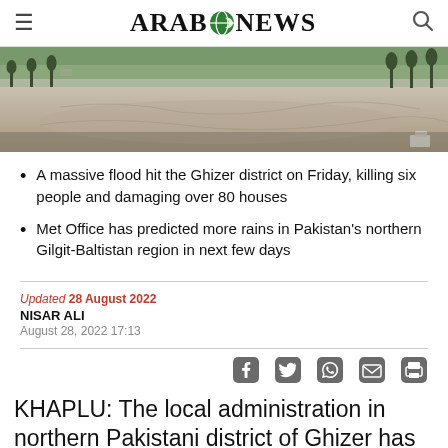Arab News
[Figure (photo): Aerial/drone view of flood-damaged land in Ghizer district, showing dry rocky riverbed, sparse trees, and some green vegetation in background.]
A massive flood hit the Ghizer district on Friday, killing six people and damaging over 80 houses
Met Office has predicted more rains in Pakistan's northern Gilgit-Baltistan region in next few days
Updated 28 August 2022
NISAR ALI
August 28, 2022 17:13
KHAPLU: The local administration in northern Pakistani district of Ghizer has closed all